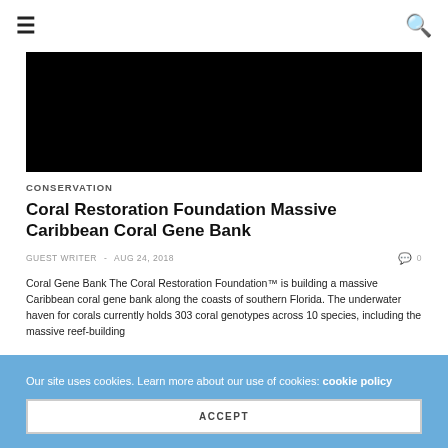≡   🔍
[Figure (photo): Black hero image / article header photo]
CONSERVATION
Coral Restoration Foundation Massive Caribbean Coral Gene Bank
GUEST WRITER  -  AUG 24, 2018   💬 0
Coral Gene Bank The Coral Restoration Foundation™ is building a massive Caribbean coral gene bank along the coasts of southern Florida. The underwater haven for corals currently holds 303 coral genotypes across 10 species, including the massive reef-building
Our site uses cookies. Learn more about our use of cookies: cookie policy
ACCEPT